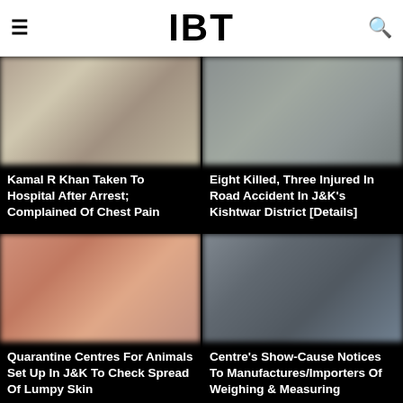IBT
[Figure (photo): Blurred indoor/room image for Kamal R Khan article]
Kamal R Khan Taken To Hospital After Arrest; Complained Of Chest Pain
[Figure (photo): Blurred outdoor/landscape image for road accident article]
Eight Killed, Three Injured In Road Accident In J&K's Kishtwar District [Details]
[Figure (photo): Blurred warm-toned image for quarantine centres article]
Quarantine Centres For Animals Set Up In J&K To Check Spread Of Lumpy Skin
[Figure (photo): Blurred dark image for show-cause notices article]
Centre's Show-Cause Notices To Manufactures/Importers Of Weighing & Measuring